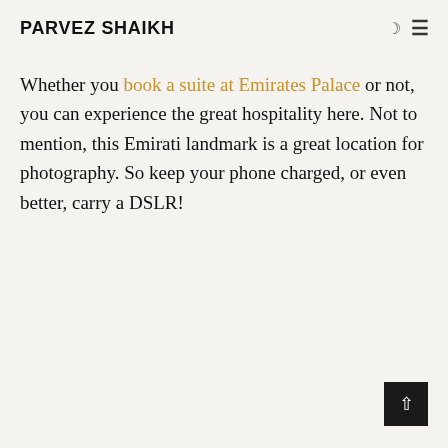PARVEZ SHAIKH
Whether you book a suite at Emirates Palace or not, you can experience the great hospitality here. Not to mention, this Emirati landmark is a great location for photography. So keep your phone charged, or even better, carry a DSLR!